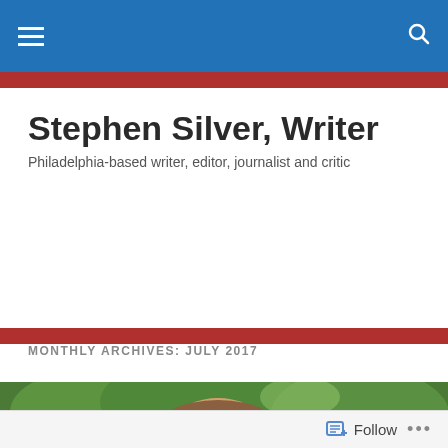Stephen Silver, Writer — navigation bar
Stephen Silver, Writer
Philadelphia-based writer, editor, journalist and critic
MONTHLY ARCHIVES: JULY 2017
[Figure (photo): A smiling man with glasses wearing a light blue polo shirt, surrounded by people outdoors in a wooded/park setting. Various adults and children visible in the background.]
Follow   ...